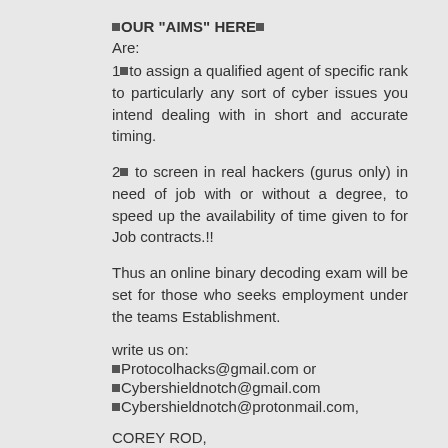■OUR "AIMS" HERE■
Are:
1■to assign a qualified agent of specific rank to particularly any sort of cyber issues you intend dealing with in short and accurate timing.
2■ to screen in real hackers (gurus only) in need of job with or without a degree, to speed up the availability of time given to for Job contracts.!!
Thus an online binary decoding exam will be set for those who seeks employment under the teams Establishment.
write us on:
■Protocolhacks@gmail.com or
■Cybershieldnotch@gmail.com
■Cybershieldnotch@protonmail.com,
COREY ROD,
SIGNED...!
Thank you!!!